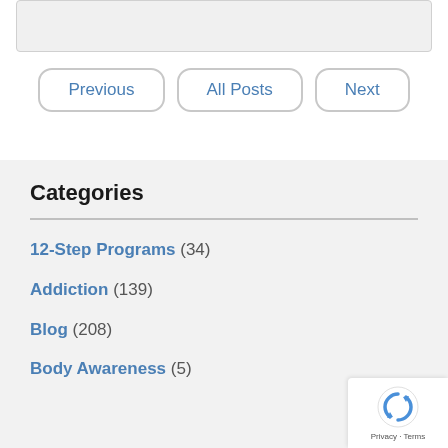[Figure (other): Gray content box at top of page]
Previous
All Posts
Next
Categories
12-Step Programs (34)
Addiction (139)
Blog (208)
Body Awareness (5)